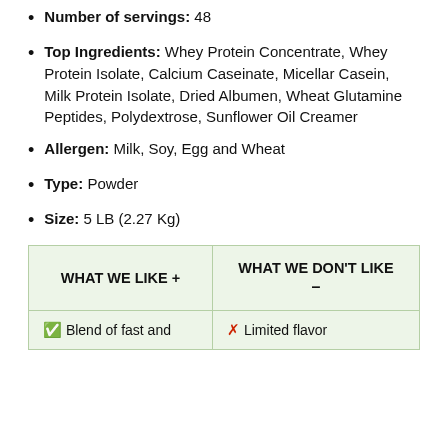Number of servings: 48
Top Ingredients: Whey Protein Concentrate, Whey Protein Isolate, Calcium Caseinate, Micellar Casein, Milk Protein Isolate, Dried Albumen, Wheat Glutamine Peptides, Polydextrose, Sunflower Oil Creamer
Allergen: Milk, Soy, Egg and Wheat
Type: Powder
Size: 5 LB (2.27 Kg)
| WHAT WE LIKE + | WHAT WE DON'T LIKE – |
| --- | --- |
| ✅ Blend of fast and | ✗ Limited flavor |